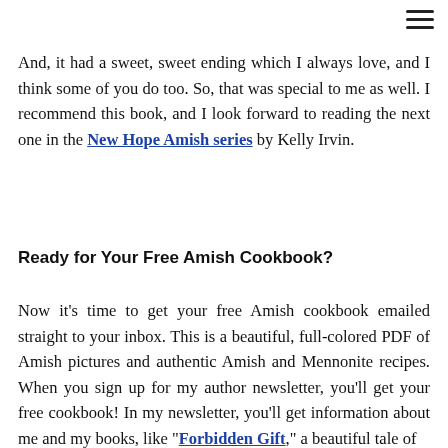And, it had a sweet, sweet ending which I always love, and I think some of you do too. So, that was special to me as well. I recommend this book, and I look forward to reading the next one in the New Hope Amish series by Kelly Irvin.
Ready for Your Free Amish Cookbook?
Now it's time to get your free Amish cookbook emailed straight to your inbox. This is a beautiful, full-colored PDF of Amish pictures and authentic Amish and Mennonite recipes. When you sign up for my author newsletter, you'll get your free cookbook! In my newsletter, you'll get information about me and my books, like "Forbidden Gift," a beautiful tale of